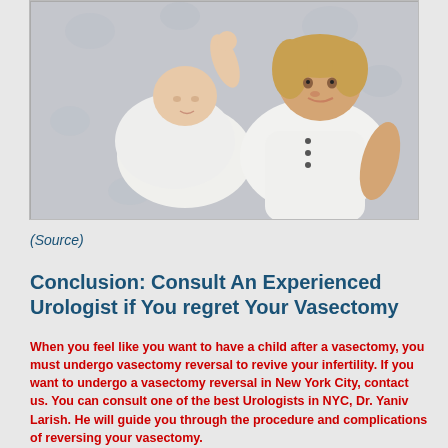[Figure (photo): A newborn baby wrapped in white swaddle lying next to a young toddler child in white clothing, both on a light floral patterned blanket/surface.]
(Source)
Conclusion: Consult An Experienced Urologist if You regret Your Vasectomy
When you feel like you want to have a child after a vasectomy, you must undergo vasectomy reversal to revive your infertility. If you want to undergo a vasectomy reversal in New York City, contact us. You can consult one of the best Urologists in NYC, Dr. Yaniv Larish. He will guide you through the procedure and complications of reversing your vasectomy.